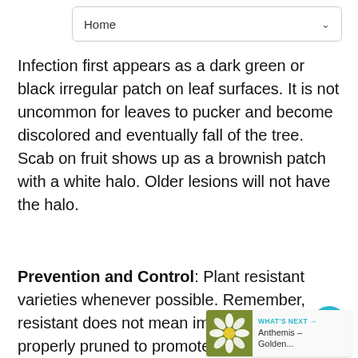Home
Infection first appears as a dark green or black irregular patch on leaf surfaces. It is not uncommon for leaves to pucker and become discolored and eventually fall of the tree. Scab on fruit shows up as a brownish patch with a white halo. Older lesions will not have the halo.
Prevention and Control: Plant resistant varieties whenever possible. Remember, resistant does not mean immune. Keep tree properly pruned to promote good air circulation and always rake up and destroy fallen leaves. If you have a known problem from previous years, treat with an appropriate fungicide early on. Follow all directions on the label - make